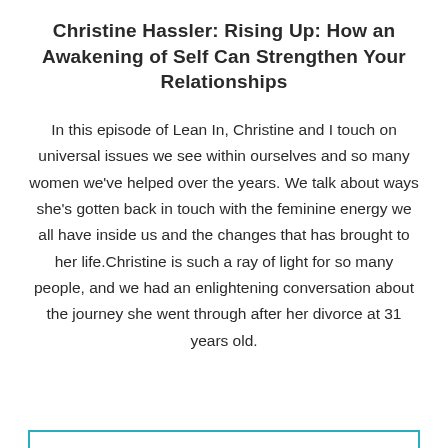Christine Hassler: Rising Up: How an Awakening of Self Can Strengthen Your Relationships
In this episode of Lean In, Christine and I touch on universal issues we see within ourselves and so many women we've helped over the years. We talk about ways she's gotten back in touch with the feminine energy we all have inside us and the changes that has brought to her life.Christine is such a ray of light for so many people, and we had an enlightening conversation about the journey she went through after her divorce at 31 years old.